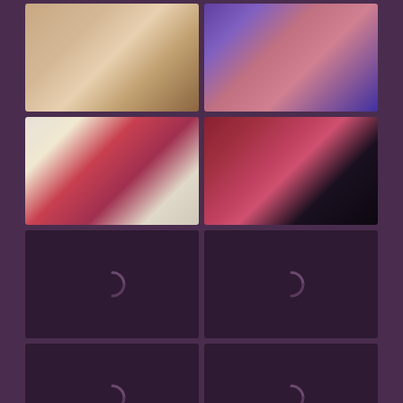[Figure (photo): Top-left: Person in light/nude toned outfit against light background]
[Figure (photo): Top-right: Person in red outfit, dark background, two people visible]
[Figure (photo): Row 2 left: Person in red lace top against light background]
[Figure (photo): Row 2 right: Person in dark outfit on red bed, red vase visible]
[Figure (photo): Row 3 left: Loading spinner on dark purple background]
[Figure (photo): Row 3 right: Loading spinner on dark purple background]
[Figure (photo): Row 4 left: Loading spinner on dark purple background]
[Figure (photo): Row 4 right: Loading spinner on dark purple background]
[Figure (photo): Bottom-left partial: Person in dark setting, partial view]
[Figure (photo): Bottom-right partial: Person against light background with framed picture on wall]